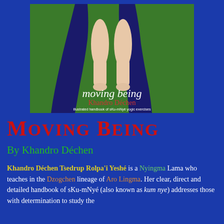[Figure (illustration): Book cover of 'moving being' by Khandro Déchen. Shows a figure's legs and feet against a dark green background with flowing dark blue fabric. Text on cover reads 'moving being', 'Khandro Déchen', 'illustrated handbook of sKu-mNyé yogic exercises'.]
Moving Being
By Khandro Déchen
Khandro Déchen Tsedrup Rolpa'i Yeshé is a Nyingma Lama who teaches in the Dzogchen lineage of Aro Lingma. Her clear, direct and detailed handbook of sKu-mNyé (also known as kum nye) addresses those with determination to study the